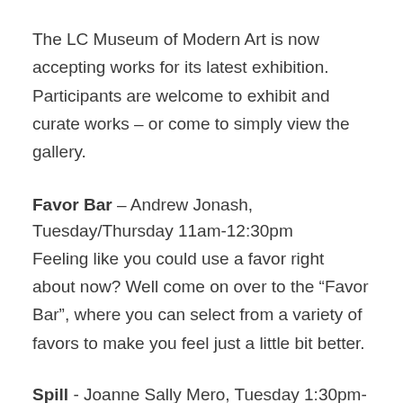The LC Museum of Modern Art is now accepting works for its latest exhibition. Participants are welcome to exhibit and curate works – or come to simply view the gallery.
Favor Bar – Andrew Jonash, Tuesday/Thursday 11am-12:30pm
Feeling like you could use a favor right about now? Well come on over to the “Favor Bar”, where you can select from a variety of favors to make you feel just a little bit better.
Spill - Joanne Sally Mero, Tuesday 1:30pm-3pm,